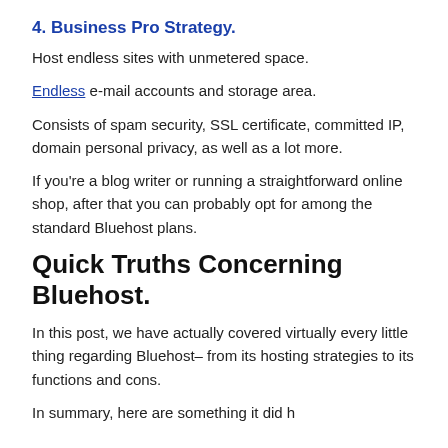4. Business Pro Strategy.
Host endless sites with unmetered space.
Endless e-mail accounts and storage area.
Consists of spam security, SSL certificate, committed IP, domain personal privacy, as well as a lot more.
If you're a blog writer or running a straightforward online shop, after that you can probably opt for among the standard Bluehost plans.
Quick Truths Concerning Bluehost.
In this post, we have actually covered virtually every little thing regarding Bluehost– from its hosting strategies to its functions and cons.
In summary, here are something it did h…